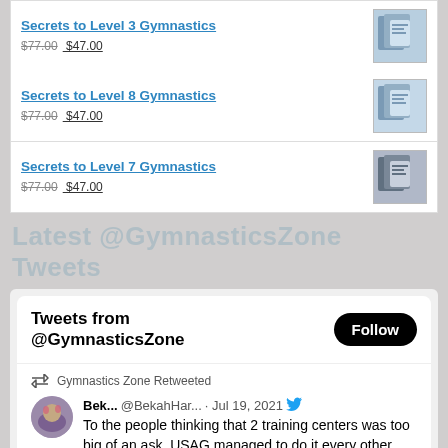Secrets to Level 3 Gymnastics $77.00 $47.00
Secrets to Level 8 Gymnastics $77.00 $47.00
Secrets to Level 7 Gymnastics $77.00 $47.00
Latest @GymnasticsZone Tweets
Tweets from @GymnasticsZone
Gymnastics Zone Retweeted
Bek... @BekahHar... · Jul 19, 2021
To the people thinking that 2 training centers was too big of an ask, USAG managed to do it every other Olympics in recent history...
6  128